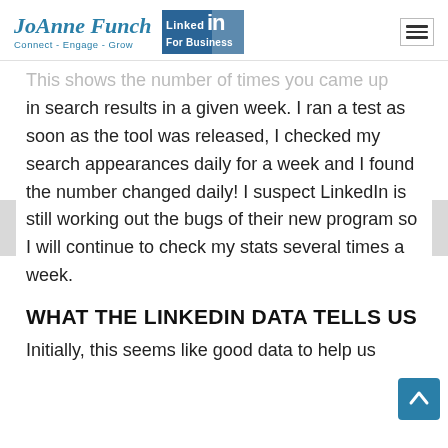JoAnne Funch Connect - Engage - Grow | LinkedIn For Business
This shows the number of times you came up in search results in a given week. I ran a test as soon as the tool was released, I checked my search appearances daily for a week and I found the number changed daily! I suspect LinkedIn is still working out the bugs of their new program so I will continue to check my stats several times a week.
WHAT THE LINKEDIN DATA TELLS US
Initially, this seems like good data to help us